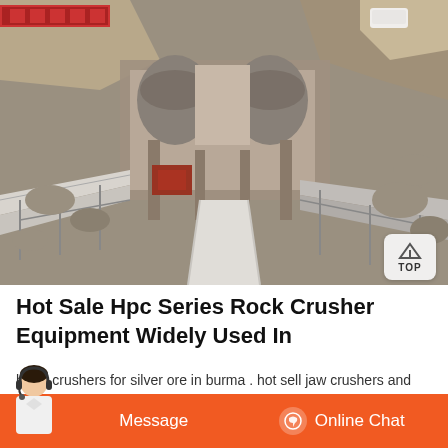[Figure (photo): Aerial/elevated view of a large industrial rock crushing facility built into a rocky quarry, showing conveyor belts, machinery structure, and surrounding rocky terrain. A vehicle is visible on the road above.]
Hot Sale Hpc Series Rock Crusher Equipment Widely Used In
ho le crushers for silver ore in burma . hot sell jaw crushers and screens f
manufacturer canada canada jaw crusher for sale canada solution for ore